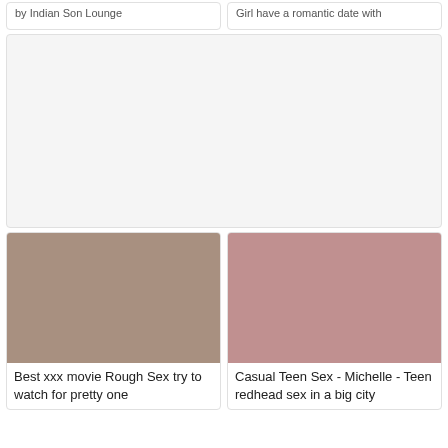by Indian Son Lounge
Girl have a romantic date with
[Figure (other): Advertisement placeholder box, light gray background]
[Figure (photo): Adult content thumbnail - blonde woman]
Best xxx movie Rough Sex try to watch for pretty one
[Figure (photo): Adult content thumbnail - redhead woman]
Casual Teen Sex - Michelle - Teen redhead sex in a big city